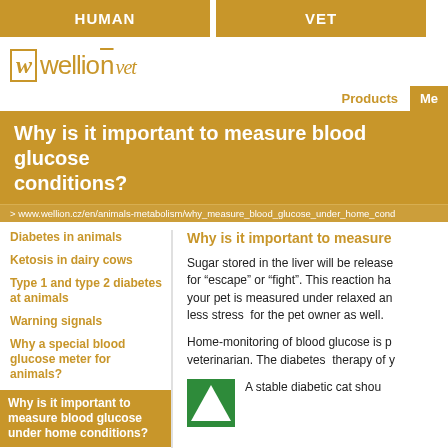HUMAN | VET
[Figure (logo): Wellion vet logo with stylized W in a box and italic 'vet' suffix]
Products | Me
Why is it important to measure blood glucose conditions?
> www.wellion.cz/en/animals-metabolism/why_measure_blood_glucose_under_home_cond
Diabetes in animals
Ketosis in dairy cows
Type 1 and type 2 diabetes at animals
Warning signals
Why a special blood glucose meter for animals?
Why is it important to measure blood glucose under home conditions?
Correct blood sampling at
Why is it important to measure
Sugar stored in the liver will be release for "escape" or "fight". This reaction ha your pet is measured under relaxed an less stress for the pet owner as well.
Home-monitoring of blood glucose is p veterinarian. The diabetes therapy of y
A stable diabetic cat shou